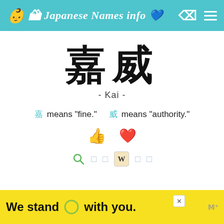Japanese Names info
嘉威
- Kai -
嘉 means "fine."   威 means "authority."
[Figure (infographic): Thumbs up emoji and heart emoji icons for liking/favoriting]
[Figure (infographic): Search icon, bracket icons, Wikipedia W tile icon, bracket icons for search actions]
[Figure (infographic): Yellow advertisement banner: 'We stand O with you.' with close button and logo]